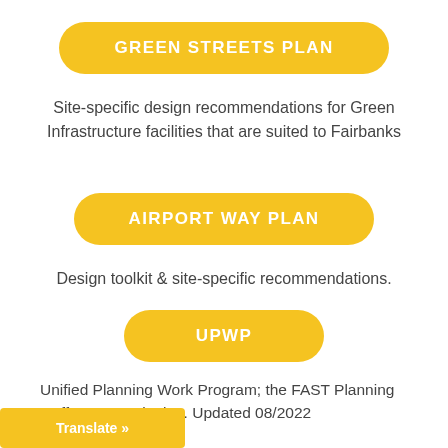GREEN STREETS PLAN
Site-specific design recommendations for Green Infrastructure facilities that are suited to Fairbanks
AIRPORT WAY PLAN
Design toolkit & site-specific recommendations.
UPWP
Unified Planning Work Program; the FAST Planning staff work plan. Updated 08/2022
Translate »